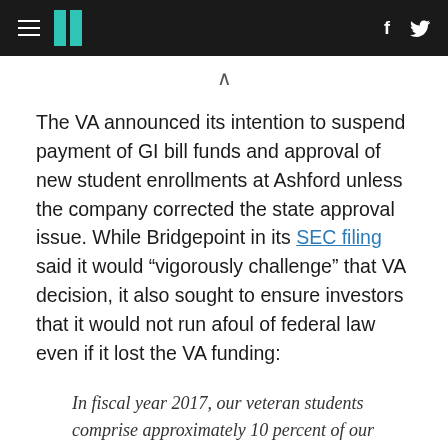HuffPost navigation header with hamburger menu, logo, Facebook and Twitter icons
The VA announced its intention to suspend payment of GI bill funds and approval of new student enrollments at Ashford unless the company corrected the state approval issue. While Bridgepoint in its SEC filing said it would “vigorously challenge” that VA decision, it also sought to ensure investors that it would not run afoul of federal law even if it lost the VA funding:
In fiscal year 2017, our veteran students comprise approximately 10 percent of our